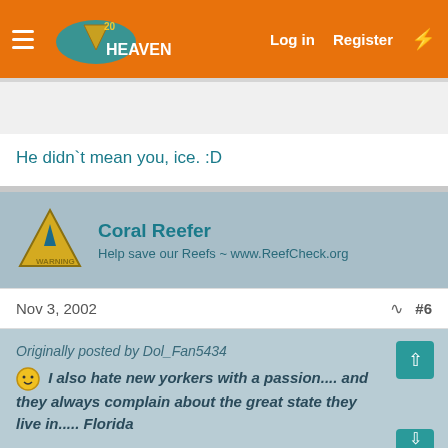FishHeaven — Log in  Register
He didn`t mean you, ice. :D
Coral Reefer
Help save our Reefs ~ www.ReefCheck.org
Nov 3, 2002  #6
Originally posted by Dol_Fan5434
[emoji] I also hate new yorkers with a passion.... and they always complain about the great state they live in..... Florida
[emoji][emoji]
× Close